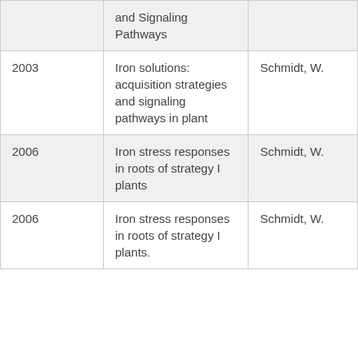|  | and Signaling Pathways |  |
| 2003 | Iron solutions: acquisition strategies and signaling pathways in plant | Schmidt, W. |
| 2006 | Iron stress responses in roots of strategy I plants | Schmidt, W. |
| 2006 | Iron stress responses in roots of strategy I plants. | Schmidt, W. |